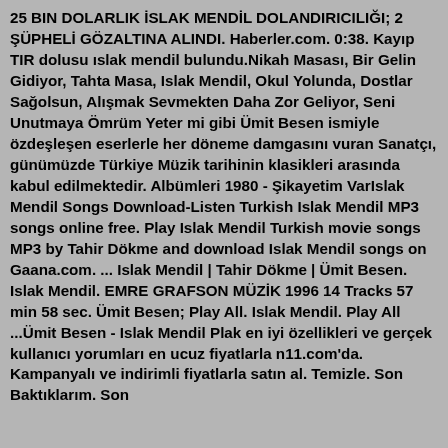25 BIN DOLARLIK ISLAK MENDIL DOLANDIRICILIĞI; 2 ŞÜPHELİ GÖZALTINA ALINDI. Haberler.com. 0:38. Kayıp TIR dolusu ıslak mendil bulundu.Nikah Masası, Bir Gelin Gidiyor, Tahta Masa, Islak Mendil, Okul Yolunda, Dostlar Sağolsun, Alışmak Sevmekten Daha Zor Geliyor, Seni Unutmaya Ömrüm Yeter mi gibi Ümit Besen ismiyle özdeşleşen eserlerle her döneme damgasını vuran Sanatçı, günümüzde Türkiye Müzik tarihinin klasikleri arasında kabul edilmektedir. Albümleri 1980 - Şikayetim VarIslak Mendil Songs Download-Listen Turkish Islak Mendil MP3 songs online free. Play Islak Mendil Turkish movie songs MP3 by Tahir Dökme and download Islak Mendil songs on Gaana.com. ... Islak Mendil | Tahir Dökme | Ümit Besen. Islak Mendil. EMRE GRAFSON MÜZİK 1996 14 Tracks 57 min 58 sec. Ümit Besen; Play All. Islak Mendil. Play All ...Ümit Besen - Islak Mendil Plak en iyi özellikleri ve gerçek kullanıcı yorumları en ucuz fiyatlarla n11.com'da. Kampanyalı ve indirimli fiyatlarla satın al. Temizle. Son Baktıklarım. Son